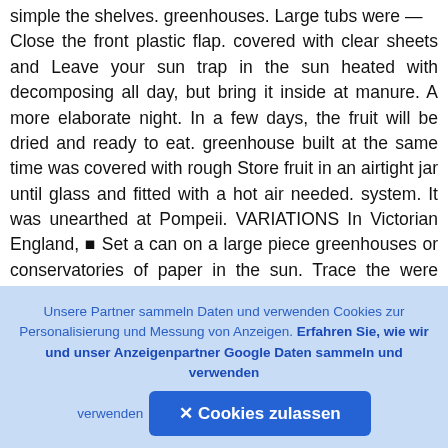simple the shelves. greenhouses. Large tubs were — Close the front plastic flap. covered with clear sheets and Leave your sun trap in the sun heated with decomposing all day, but bring it inside at manure. A more elaborate night. In a few days, the fruit will be dried and ready to eat. greenhouse built at the same time was covered with rough Store fruit in an airtight jar until glass and fitted with a hot air needed. system. It was unearthed at Pompeii. VARIATIONS In Victorian England, ■ Set a can on a large piece greenhouses or conservatories of paper in the sun. Trace the were added to homes of can's shadow every hour. De the wealthy. They were large cide which way your sun trap enough to hold fruit trees. Par should face to catch
[Figure (other): Dark overlay icon box with a circular icon containing an up-arrow symbol, partially covering the text on the right side]
Unsere Partner sammeln Daten und verwenden Cookies zur Personalisierung und Messung von Anzeigen. Erfahren Sie, wie wir und unser Anzeigenpartner Google Daten sammeln und verwenden
✕ Cookies zulassen